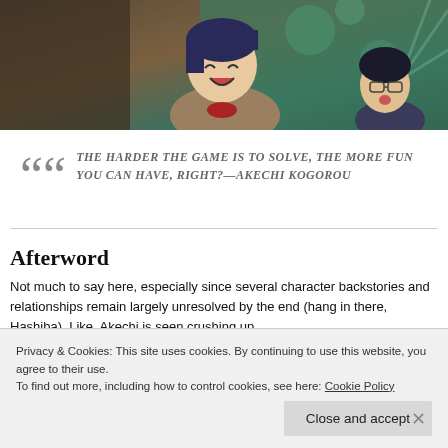[Figure (illustration): Anime screenshot showing a laughing/excited female character with dark hair in the center, and a male character with glasses on the right, in a colorful indoor setting]
THE HARDER THE GAME IS TO SOLVE, THE MORE FUN YOU CAN HAVE, RIGHT?—AKECHI KOGOROU
Afterword
Not much to say here, especially since several character backstories and relationships remain largely unresolved by the end (hang in there, Hashiba). Like, Akechi is seen crushing up
Privacy & Cookies: This site uses cookies. By continuing to use this website, you agree to their use.
To find out more, including how to control cookies, see here: Cookie Policy
Close and accept